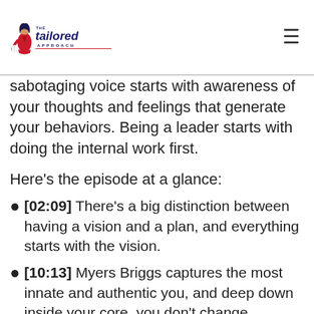The Tailored Approach
sabotaging voice starts with awareness of your thoughts and feelings that generate your behaviors. Being a leader starts with doing the internal work first.
Here's the episode at a glance:
[02:09] There's a big distinction between having a vision and a plan, and everything starts with the vision.
[10:13] Myers Briggs captures the most innate and authentic you, and deep down inside your core, you don't change.